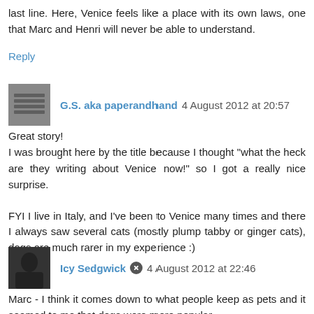last line. Here, Venice feels like a place with its own laws, one that Marc and Henri will never be able to understand.
Reply
G.S. aka paperandhand  4 August 2012 at 20:57
Great story!
I was brought here by the title because I thought "what the heck are they writing about Venice now!" so I got a really nice surprise.

FYI I live in Italy, and I've been to Venice many times and there I always saw several cats (mostly plump tabby or ginger cats), dogs are much rarer in my experience :)
Reply
Icy Sedgwick  4 August 2012 at 22:46
Marc - I think it comes down to what people keep as pets and it seemed to me that dogs were more popular.